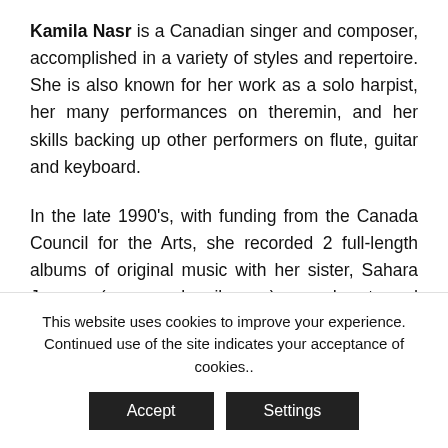Kamila Nasr is a Canadian singer and composer, accomplished in a variety of styles and repertoire. She is also known for her work as a solo harpist, her many performances on theremin, and her skills backing up other performers on flute, guitar and keyboard.
In the late 1990's, with funding from the Canada Council for the Arts, she recorded 2 full-length albums of original music with her sister, Sahara Jane (www.sarakamila.com) and toured extensively throughout North America. In the early
This website uses cookies to improve your experience. Continued use of the site indicates your acceptance of cookies..
Accept | Settings